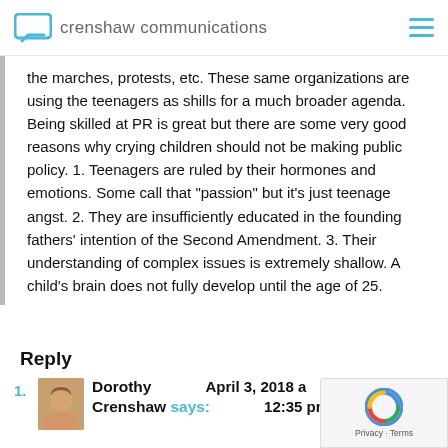crenshaw communications
the marches, protests, etc. These same organizations are using the teenagers as shills for a much broader agenda. Being skilled at PR is great but there are some very good reasons why crying children should not be making public policy. 1. Teenagers are ruled by their hormones and emotions. Some call that “passion” but it’s just teenage angst. 2. They are insufficiently educated in the founding fathers’ intention of the Second Amendment. 3. Their understanding of complex issues is extremely shallow. A child’s brain does not fully develop until the age of 25.
Reply
1. Dorothy Crenshaw says: April 3, 2018 a... 12:35 pm